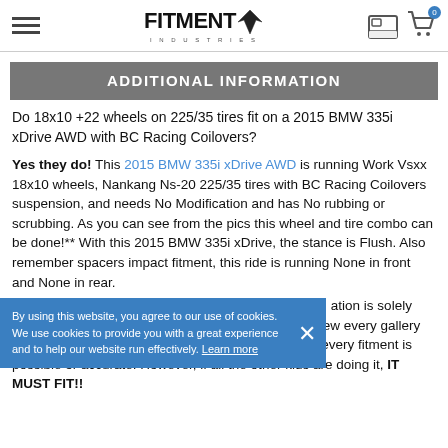Fitment Industries
ADDITIONAL INFORMATION
Do 18x10 +22 wheels on 225/35 tires fit on a 2015 BMW 335i xDrive AWD with BC Racing Coilovers?
Yes they do! This 2015 BMW 335i xDrive AWD is running Work Vsxx 18x10 wheels, Nankang Ns-20 225/35 tires with BC Racing Coilovers suspension, and needs No Modification and has No rubbing or scrubbing. As you can see from the pics this wheel and tire combo can be done!** With this 2015 BMW 335i xDrive, the stance is Flush. Also remember spacers impact fitment, this ride is running None in front and None in rear.
[cookie banner overlay] By using this website, you agree to our use of cookies. We use cookies to provide you with a great experience and to help our website run effectively. Learn more
...e vehicles that ...ation is solely based on the owner of this vehicle. Although we review every gallery page, there are so many variables we cannot verify every fitment is possible or accurate. However, if all the other kids are doing it, IT MUST FIT!!